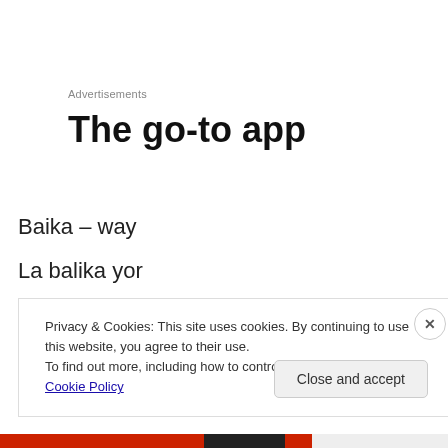Advertisements
The go-to app
Baika – way
La balika yor
Privacy & Cookies: This site uses cookies. By continuing to use this website, you agree to their use.
To find out more, including how to control cookies, see here: Cookie Policy
Close and accept